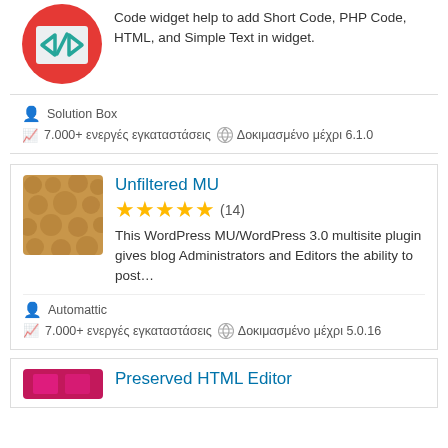Code widget help to add Short Code, PHP Code, HTML, and Simple Text in widget.
Solution Box
7.000+ ενεργές εγκαταστάσεις  Δοκιμασμένο μέχρι 6.1.0
Unfiltered MU
★★★★★ (14)
This WordPress MU/WordPress 3.0 multisite plugin gives blog Administrators and Editors the ability to post…
Automattic
7.000+ ενεργές εγκαταστάσεις  Δοκιμασμένο μέχρι 5.0.16
Preserved HTML Editor